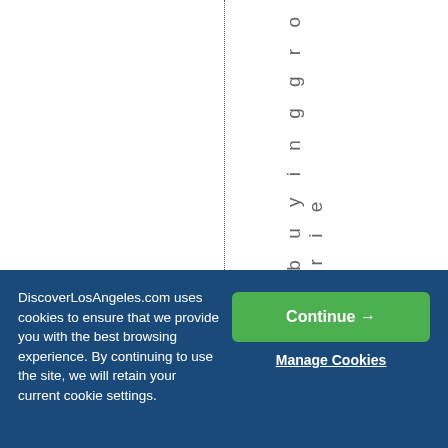t y b u y i n g g r o c e r i e
DiscoverLosAngeles.com uses cookies to ensure that we provide you with the best browsing experience. By continuing to use the site, we will retain your current cookie settings.
Continue →
Manage Cookies